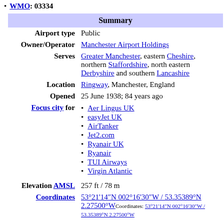WMO: 03334
| Summary |
| --- |
| Airport type | Public |
| Owner/Operator | Manchester Airport Holdings |
| Serves | Greater Manchester, eastern Cheshire, northern Staffordshire, north eastern Derbyshire and southern Lancashire |
| Location | Ringway, Manchester, England |
| Opened | 25 June 1938; 84 years ago |
| Focus city for | Aer Lingus UK
easyJet UK
AirTanker
Jet2.com
Ryanair UK
Ryanair
TUI Airways
Virgin Atlantic |
| Elevation AMSL | 257 ft / 78 m |
| Coordinates | 53°21'14″N 002°16'30″W / 53.35389°N 2.27500°W |